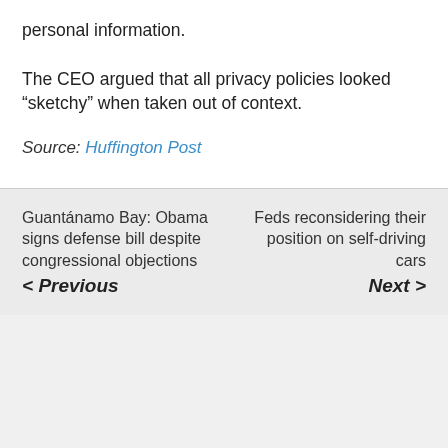personal information.
The CEO argued that all privacy policies looked “sketchy” when taken out of context.
Source: Huffington Post
Guantánamo Bay: Obama signs defense bill despite congressional objections
< Previous
Feds reconsidering their position on self-driving cars
Next >